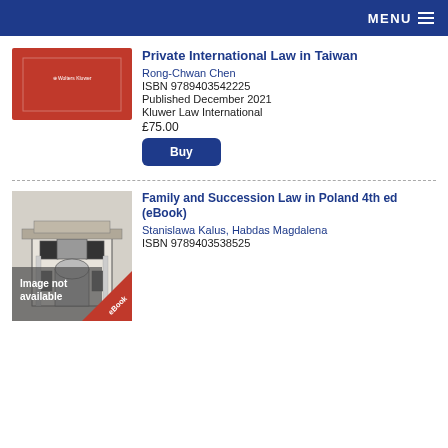MENU
[Figure (illustration): Book cover for Private International Law in Taiwan – red background with Wolters Kluwer logo]
Private International Law in Taiwan
Rong-Chwan Chen
ISBN 9789403542225
Published December 2021
Kluwer Law International
£75.00
Buy
[Figure (illustration): Book cover for Family and Succession Law in Poland – grey building illustration with 'Image not available' overlay and eBook badge]
Family and Succession Law in Poland 4th ed (eBook)
Stanislawa Kalus, Habdas Magdalena
ISBN 9789403538525